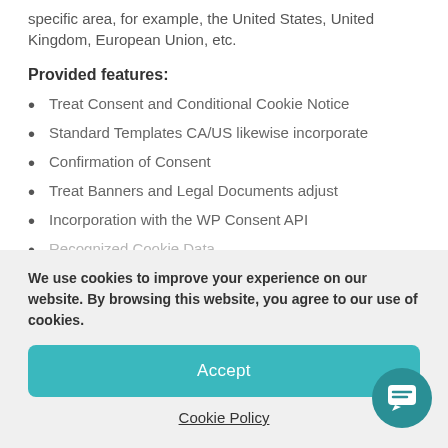specific area, for example, the United States, United Kingdom, European Union, etc.
Provided features:
Treat Consent and Conditional Cookie Notice
Standard Templates CA/US likewise incorporate
Confirmation of Consent
Treat Banners and Legal Documents adjust
Incorporation with the WP Consent API
Recognized Cookie Data
[Figure (other): Table of contents icon showing numbered list lines]
We use cookies to improve your experience on our website. By browsing this website, you agree to our use of cookies.
Accept
Cookie Policy